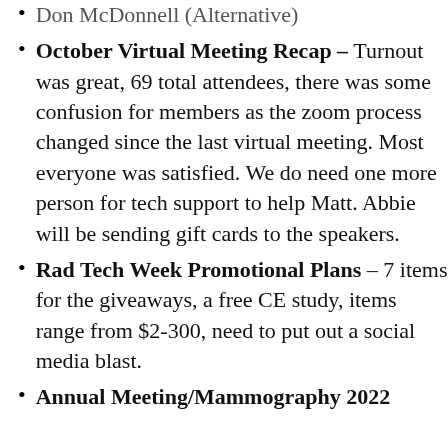Don McDonnell (Alternative)
October Virtual Meeting Recap – Turnout was great, 69 total attendees, there was some confusion for members as the zoom process changed since the last virtual meeting. Most everyone was satisfied. We do need one more person for tech support to help Matt. Abbie will be sending gift cards to the speakers.
Rad Tech Week Promotional Plans – 7 items for the giveaways, a free CE study, items range from $2-300, need to put out a social media blast.
Annual Meeting/Mammography 2022